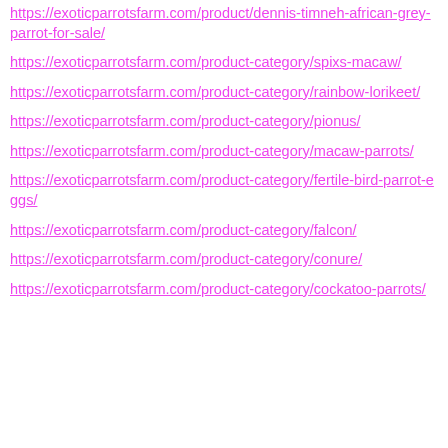https://exoticparrotsfarm.com/product/dennis-timneh-african-grey-parrot-for-sale/
https://exoticparrotsfarm.com/product-category/spixs-macaw/
https://exoticparrotsfarm.com/product-category/rainbow-lorikeet/
https://exoticparrotsfarm.com/product-category/pionus/
https://exoticparrotsfarm.com/product-category/macaw-parrots/
https://exoticparrotsfarm.com/product-category/fertile-bird-parrot-eggs/
https://exoticparrotsfarm.com/product-category/falcon/
https://exoticparrotsfarm.com/product-category/conure/
https://exoticparrotsfarm.com/product-category/cockatoo-parrots/